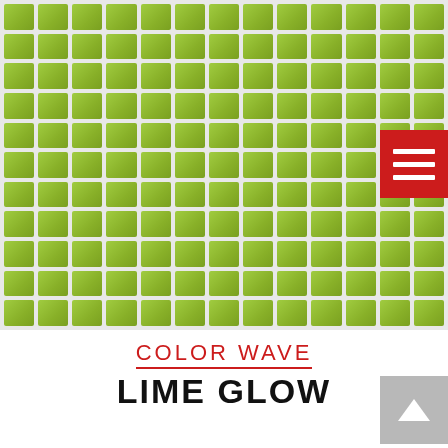[Figure (photo): A grid of lime green/yellow-green square mosaic tiles arranged in a regular 13x11 grid pattern with white grout lines, filling the upper portion of the page. A red hamburger menu icon button is overlaid in the upper right.]
COLOR WAVE
LIME GLOW